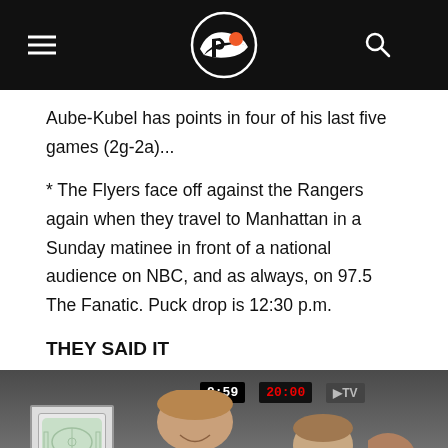Philadelphia Flyers navigation header with logo, hamburger menu, and search icon
Aube-Kubel has points in four of his last five games (2g-2a)...
* The Flyers face off against the Rangers again when they travel to Manhattan in a Sunday matinee in front of a national audience on NBC, and as always, on 97.5 The Fanatic. Puck drop is 12:30 p.m.
THEY SAID IT
[Figure (photo): Two hockey players smiling in the locker room, with scoreboard clocks showing 9:59 and 20:00 visible in the background, along with a DTV logo]